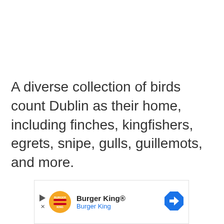A diverse collection of birds count Dublin as their home, including finches, kingfishers, egrets, snipe, gulls, guillemots, and more.
[Figure (other): Burger King advertisement banner with logo, brand name 'Burger King®', subtitle 'Burger King', and a navigation/maps icon on the right.]